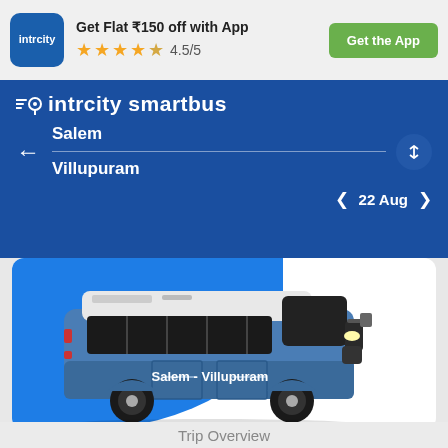Get Flat ₹150 off with App
★★★★☆ 4.5/5
Get the App
intrcity smartbus
Salem
Villupuram
22 Aug
[Figure (illustration): Illustration of a blue and white intercity bus with text 'Salem - Villupuram' on the side, shown on a blue background]
Trip Overview